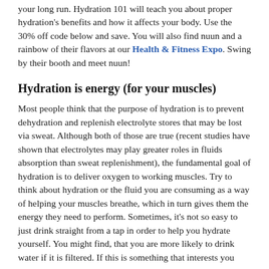your long run. Hydration 101 will teach you about proper hydration's benefits and how it affects your body. Use the 30% off code below and save. You will also find nuun and a rainbow of their flavors at our Health & Fitness Expo. Swing by their booth and meet nuun!
Hydration is energy (for your muscles)
Most people think that the purpose of hydration is to prevent dehydration and replenish electrolyte stores that may be lost via sweat. Although both of those are true (recent studies have shown that electrolytes may play greater roles in fluids absorption than sweat replenishment), the fundamental goal of hydration is to deliver oxygen to working muscles. Try to think about hydration or the fluid you are consuming as a way of helping your muscles breathe, which in turn gives them the energy they need to perform. Sometimes, it's not so easy to just drink straight from a tap in order to help you hydrate yourself. You might find, that you are more likely to drink water if it is filtered. If this is something that interests you